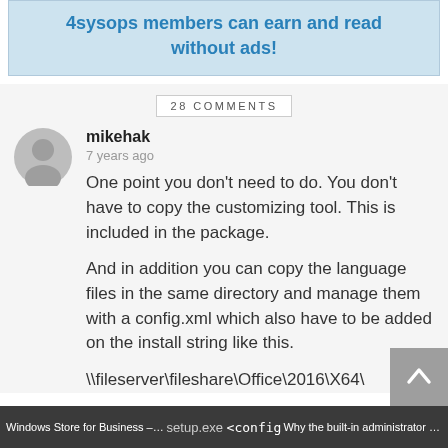4sysops members can earn and read without ads!
28 COMMENTS
mikehak
7 years ago
One point you don't need to do. You don't have to copy the customizing tool. This is included in the package.
And in addition you can copy the language files in the same directory and manage them with a config.xml which also have to be added on the install string like this.
\\fileserver\fileshare\Office\2016\X64\
Windows Store for Business – A fir... setup.exe <config Why the built-in administrator acco...